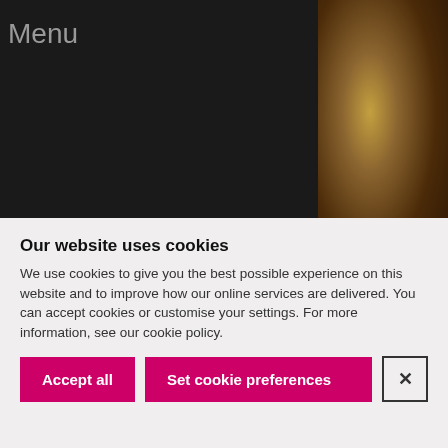Menu  ×
Blog home
Categories
National Museum of Scotland
[Figure (photo): Photograph showing what appears to be an animal or fossil specimen with warm brown and gold tones]
The  by  ng a  d
Our website uses cookies
We use cookies to give you the best possible experience on this website and to improve how our online services are delivered. You can accept cookies or customise your settings. For more information, see our cookie policy.
Accept all  |  Set cookie preferences  |  ×